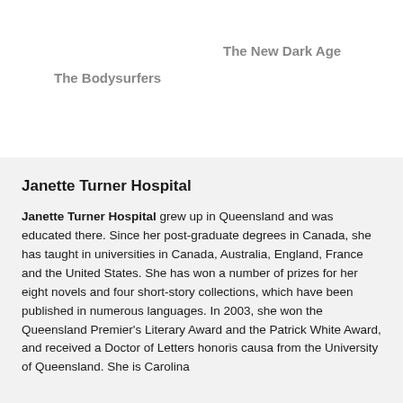The New Dark Age
The Bodysurfers
Janette Turner Hospital
Janette Turner Hospital grew up in Queensland and was educated there. Since her post-graduate degrees in Canada, she has taught in universities in Canada, Australia, England, France and the United States. She has won a number of prizes for her eight novels and four short-story collections, which have been published in numerous languages. In 2003, she won the Queensland Premier's Literary Award and the Patrick White Award, and received a Doctor of Letters honoris causa from the University of Queensland. She is Carolina